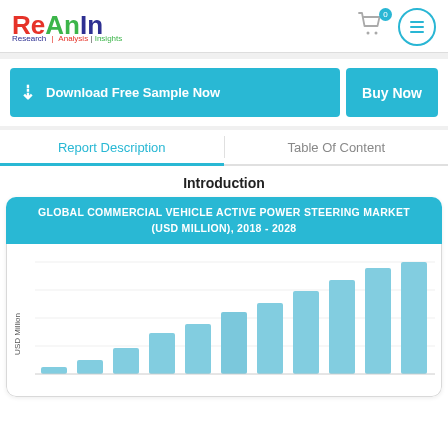ReAnIn Research | Analysis | Insights
Download Free Sample Now
Buy Now
Report Description
Table Of Content
Introduction
[Figure (bar-chart): Bar chart showing increasing global commercial vehicle active power steering market from 2018 to 2028 in USD Million]